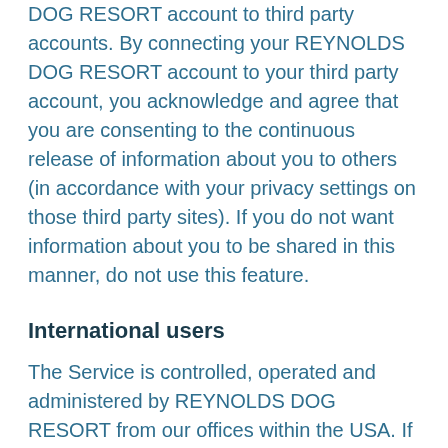DOG RESORT account to third party accounts. By connecting your REYNOLDS DOG RESORT account to your third party account, you acknowledge and agree that you are consenting to the continuous release of information about you to others (in accordance with your privacy settings on those third party sites). If you do not want information about you to be shared in this manner, do not use this feature.
International users
The Service is controlled, operated and administered by REYNOLDS DOG RESORT from our offices within the USA. If you access the Service from a location outside the USA, you are responsible for compliance with all local